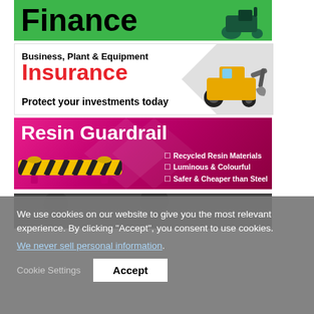[Figure (illustration): Finance banner with green background and bold black 'Finance' text, construction vehicle icon on right]
[Figure (illustration): Business, Plant & Equipment Insurance banner: white background with gray arrow, yellow backhoe image, red 'Insurance' text, black text 'Business, Plant & Equipment' and 'Protect your investments today']
[Figure (illustration): Resin Guardrail banner: pink/magenta gradient background, white bold 'Resin Guardrail' title, yellow/black striped barrier image, checklist items: Recycled Resin Materials, Luminous & Colourful, Safer & Cheaper than Steel]
[Figure (illustration): Bitumen banner: dark textured background with large white bold 'Bitumen' text]
We use cookies on our website to give you the most relevant experience. By clicking “Accept”, you consent to use cookies.
We never sell personal information.
Cookie Settings
Accept